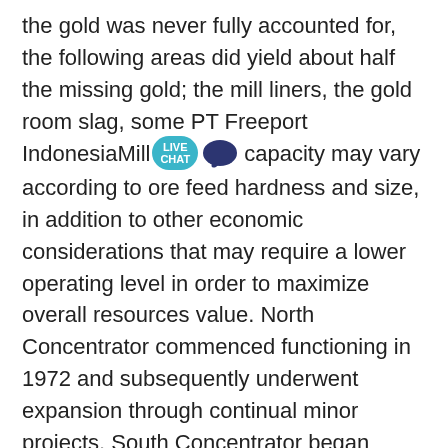the gold was never fully accounted for, the following areas did yield about half the missing gold; the mill liners, the gold room slag, some PT Freeport IndonesiaMill capacity may vary according to ore feed hardness and size, in addition to other economic considerations that may require a lower operating level in order to maximize overall resources value. North Concentrator commenced functioning in 1972 and subsequently underwent expansion through continual minor projects. South Concentrator began functioning in 1991. Concentrator #3 was part of GRAVITY RECOVERY OF GOLD FROM WITHIN GRINDING CIRCUITSThese are usually installed in the mill discharge, cyclone feed or the cyclone underflow streams where a fraction, typically 10-40%, of the stream is treated by the gravity circuit. The key factors affecting gravity recovery of gold from within grinding circuits are: - the gravity-recoverable-gold (GRG) content of the ore - the size distribution of the GRG - the recovery efficiency of the